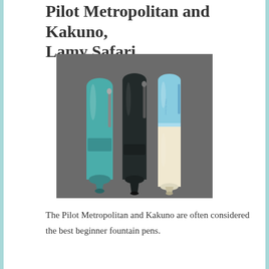Pilot Metropolitan and Kakuno, Lamy Safari
[Figure (photo): Three fountain pens standing upright side by side against a gray background: a teal/metallic green pen on the left, a dark black pen in the middle, and a light blue and cream/beige pen on the right (Pilot Kakuno).]
The Pilot Metropolitan and Kakuno are often considered the best beginner fountain pens.